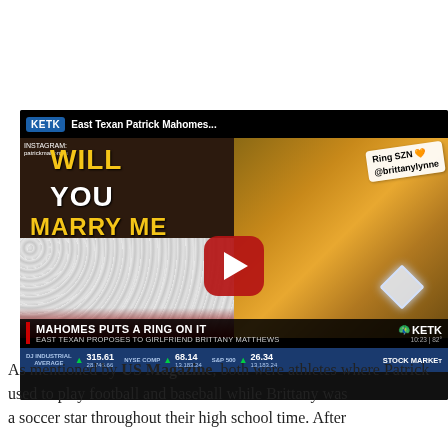[Figure (screenshot): A YouTube video thumbnail/player showing a KETK news segment titled 'East Texan Patrick Mahomes...' about 'MAHOMES PUTS A RING ON IT - EAST TEXAN PROPOSES TO GIRLFRIEND BRITTANY MATTHEWS'. The video shows a split screen: left side shows a marriage proposal setup with 'WILL YOU MARRY ME' in gold letters and flower walls; right side shows a hand with an engagement ring and a 'Ring SZN @brittanylynne' sticker overlay. A YouTube play button is centered. The lower third shows stock ticker: DJ INDUSTRIAL AVERAGE 315.61 (28,745.66), NYSE COMP 68.14 (13,183.24), S&P 500 26.34 (13,183.24), STOCK MARKET.]
As mentioned by US Magazine, both were athletes where Patrick used to play football and baseball while Brittany was a soccer star throughout their high school time. After